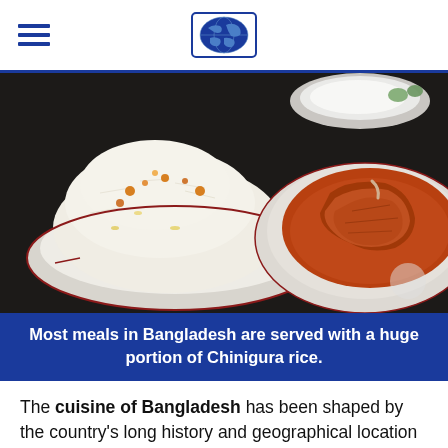[Figure (photo): Two white plates on a dark table: left plate has a large mound of white Chinigura rice with orange spiced garnish, right plate has a braised meat piece in thick red-brown curry sauce. A small bowl with vegetables visible in background.]
Most meals in Bangladesh are served with a huge portion of Chinigura rice.
The cuisine of Bangladesh has been shaped by the country's long history and geographical location and is made up of a diverse range of delicious spices, herbs, rice, fish, meats and naan breads.